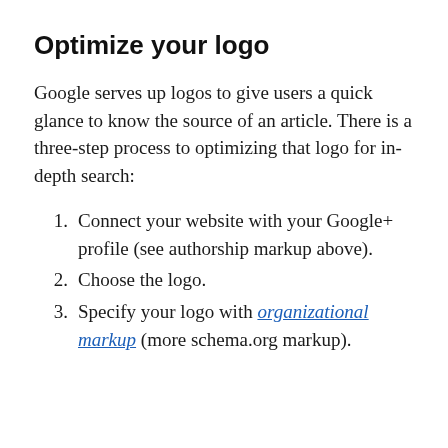Optimize your logo
Google serves up logos to give users a quick glance to know the source of an article. There is a three-step process to optimizing that logo for in-depth search:
Connect your website with your Google+ profile (see authorship markup above).
Choose the logo.
Specify your logo with organizational markup (more schema.org markup).